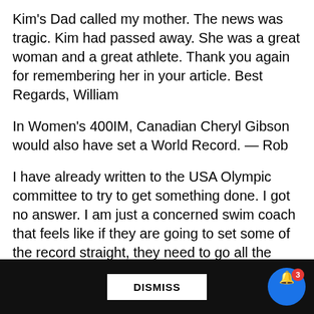Kim's Dad called my mother. The news was tragic. Kim had passed away. She was a great woman and a great athlete. Thank you again for remembering her in your article. Best Regards, William
In Women's 400IM, Canadian Cheryl Gibson would also have set a World Record. — Rob
I have already written to the USA Olympic committee to try to get something done. I got no answer. I am just a concerned swim coach that feels like if they are going to set some of the record straight, they need to go all the way. If Germany is willing to admit they cheated and erase the records, then the medals should go to the right people. Look at the results this is not just a DDR a...
DISMISS